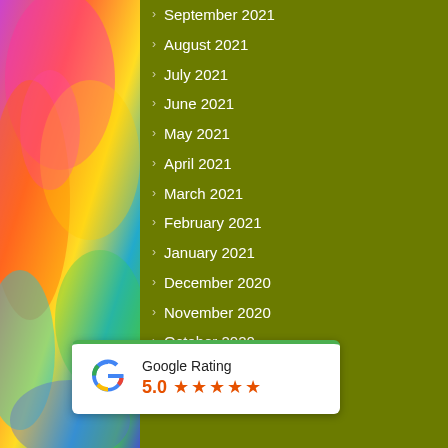[Figure (photo): Colorful abstract/parrot photo panel on left side]
September 2021
August 2021
July 2021
June 2021
May 2021
April 2021
March 2021
February 2021
January 2021
December 2020
November 2020
October 2020
September 2020
August 2020
January 2020
[Figure (infographic): Google Rating badge showing 5.0 stars]
January 2020